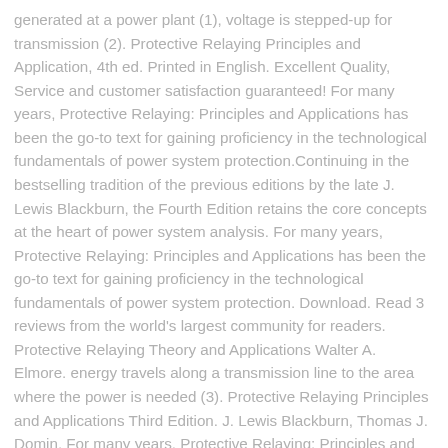generated at a power plant (1), voltage is stepped-up for transmission (2). Protective Relaying Principles and Application, 4th ed. Printed in English. Excellent Quality, Service and customer satisfaction guaranteed! For many years, Protective Relaying: Principles and Applications has been the go-to text for gaining proficiency in the technological fundamentals of power system protection.Continuing in the bestselling tradition of the previous editions by the late J. Lewis Blackburn, the Fourth Edition retains the core concepts at the heart of power system analysis. For many years, Protective Relaying: Principles and Applications has been the go-to text for gaining proficiency in the technological fundamentals of power system protection. Download. Read 3 reviews from the world's largest community for readers. Protective Relaying Theory and Applications Walter A. Elmore. energy travels along a transmission line to the area where the power is needed (3). Protective Relaying Principles and Applications Third Edition. J. Lewis Blackburn, Thomas J. Domin. For many years, Protective Relaying: Principles and Applications has been the go-to text for